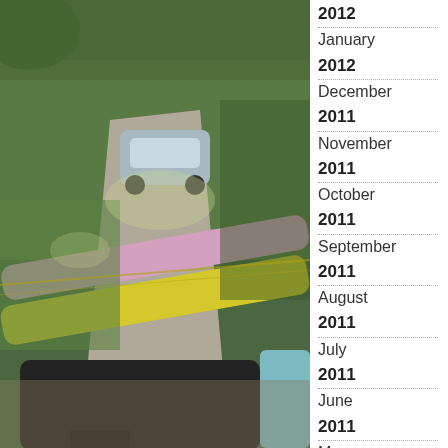[Figure (photo): Aerial/overhead view of cars with kayaks or canoes (yellow and pink/purple) loaded on roof racks, parked on a gravel driveway surrounded by green grass and trees. A silver hatchback is visible in the background, and a teal car is on the right edge.]
2012
January
2012
December
2011
November
2011
October
2011
September
2011
August
2011
July
2011
June
2011
May
2011